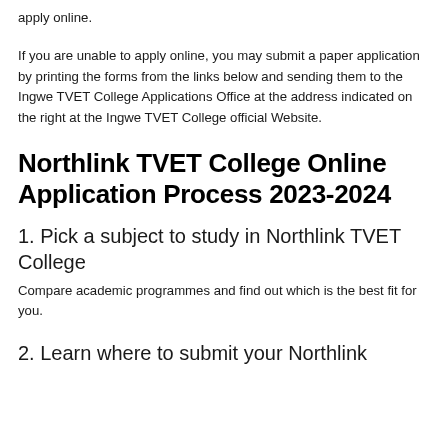apply online.
If you are unable to apply online, you may submit a paper application by printing the forms from the links below and sending them to the Ingwe TVET College Applications Office at the address indicated on the right at the Ingwe TVET College official Website.
Northlink TVET College Online Application Process 2023-2024
1. Pick a subject to study in Northlink TVET College
Compare academic programmes and find out which is the best fit for you.
2. Learn where to submit your Northlink